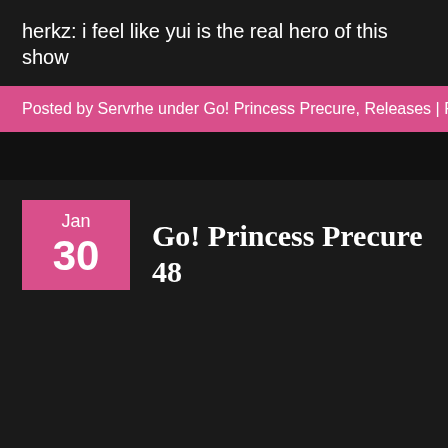herkz: i feel like yui is the real hero of this show
Posted by Servrhe under Go! Princess Precure, Releases | Permalink | 3 Co
Go! Princess Precure 48
Jan 30